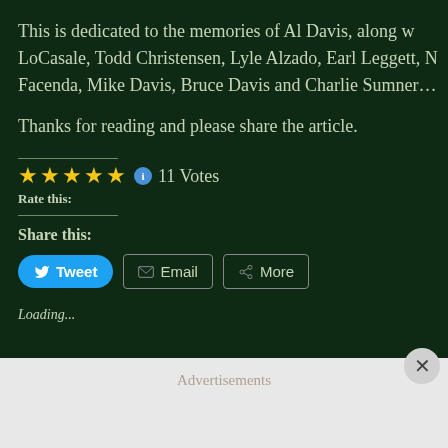This is dedicated to the memories of Al Davis, along w... LoCasale, Todd Christensen, Lyle Alzado, Earl Leggett, M... Facenda, Mike Davis, Bruce Davis and Charlie Sumner...
Thanks for reading and please share the article.
Rate this: ★★★★★ ℹ 11 Votes
Share this:
[Figure (screenshot): Social sharing buttons: Tweet (blue), Email (outlined), More (outlined)]
Loading...
Advertisements